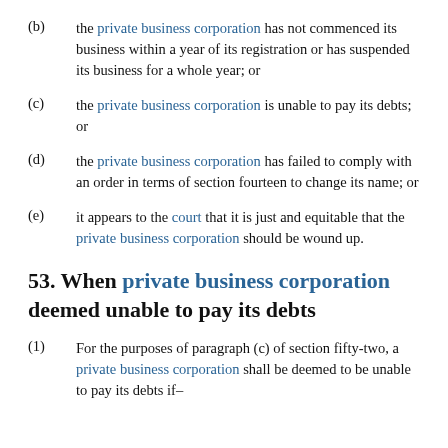(b) the private business corporation has not commenced its business within a year of its registration or has suspended its business for a whole year; or
(c) the private business corporation is unable to pay its debts; or
(d) the private business corporation has failed to comply with an order in terms of section fourteen to change its name; or
(e) it appears to the court that it is just and equitable that the private business corporation should be wound up.
53. When private business corporation deemed unable to pay its debts
(1) For the purposes of paragraph (c) of section fifty-two, a private business corporation shall be deemed to be unable to pay its debts if–